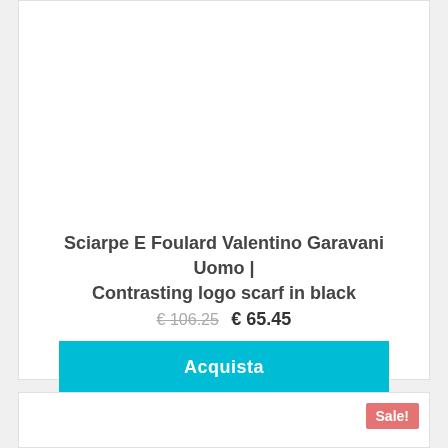Sciarpe E Foulard Valentino Garavani Uomo | Contrasting logo scarf in black
€ 106.25  € 65.45
Acquista
Sale!